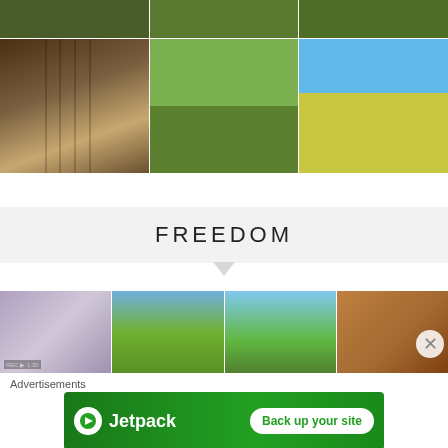[Figure (photo): Top row of farm/nature photos (partial view): greenery/plants, green field, green field]
[Figure (photo): Middle row of farm photos: barn interior with horse, horse grazing in field with dog, person kneeling next to brown horse in yellow flower field]
FREEDOM
[Figure (photo): Bottom thumbnail row: partial purple/grey image, person with horses in field, horses in green field, close-up of horse face]
Advertisements
[Figure (screenshot): Jetpack advertisement banner: green background with Jetpack logo and 'Back up your site' button]